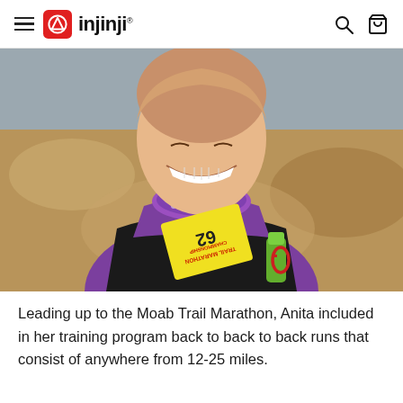injinji
[Figure (photo): Close-up photo of a female trail runner smiling, wearing a purple shirt, purple bandana around her neck, black hydration vest, and a yellow race bib for a Trail Marathon Championship. She is running outdoors in what appears to be a desert/rocky landscape. A green water bottle is visible in the vest pocket with a red carabiner clip.]
Leading up to the Moab Trail Marathon, Anita included in her training program back to back to back runs that consist of anywhere from 12-25 miles.